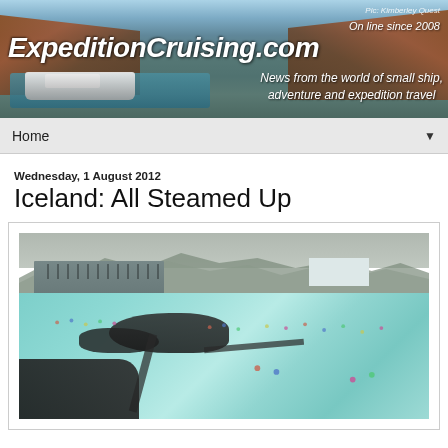ExpeditionCruising.com — On line since 2008 — News from the world of small ship, adventure and expedition travel — Pic: Kimberley Quest
Home
Wednesday, 1 August 2012
Iceland: All Steamed Up
[Figure (photo): Aerial view of the Blue Lagoon geothermal spa in Iceland, showing milky blue-green water, black lava rock islands, buildings with many visitors, and mountains in the background under a cloudy sky.]